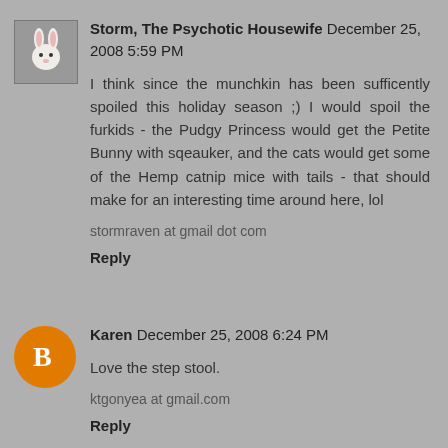[Figure (photo): Avatar image of a white rabbit on grey background]
Storm, The Psychotic Housewife December 25, 2008 5:59 PM
I think since the munchkin has been sufficently spoiled this holiday season ;) I would spoil the furkids - the Pudgy Princess would get the Petite Bunny with sqeauker, and the cats would get some of the Hemp catnip mice with tails - that should make for an interesting time around here, lol
stormraven at gmail dot com
Reply
[Figure (logo): Blogger orange circle logo icon with white B]
Karen December 25, 2008 6:24 PM
Love the step stool.
ktgonyea at gmail.com
Reply
[Figure (photo): Partial avatar image at bottom, small rabbit photo]
judit December 25, 2008 7:45 PM